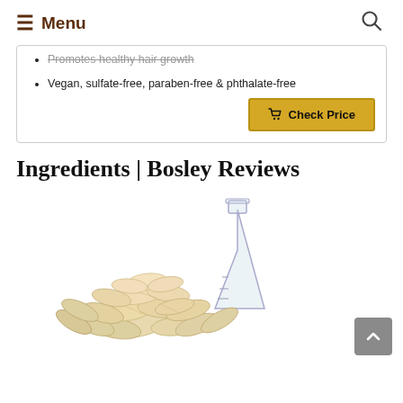Menu [search icon]
Promotes healthy hair growth
Vegan, sulfate-free, paraben-free & phthalate-free
Check Price
Ingredients | Bosley Reviews
[Figure (photo): A pile of pumpkin seeds in front of a glass Erlenmeyer flask, on a white background — illustrating natural ingredients.]